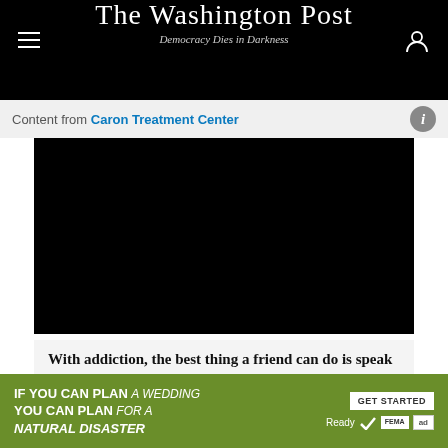The Washington Post
Democracy Dies in Darkness
Content from Caron Treatment Center
[Figure (other): Black video thumbnail area for sponsored content]
With addiction, the best thing a friend can do is speak up
Learn how to help with Caron Treatment Centers.
The apology was slammed online as insincere and
[Figure (infographic): Green FEMA advertisement banner: IF YOU CAN PLAN A WEDDING YOU CAN PLAN FOR A NATURAL DISASTER — GET STARTED — Ready FEMA ad]